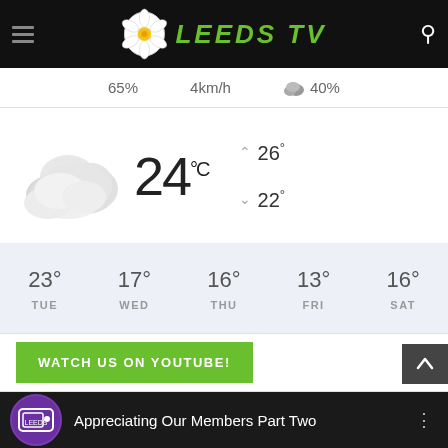[Figure (logo): Leeds TV logo with Yorkshire rose icon and green italic text 'LEEDS TV' on black header bar with hamburger menu and search icon]
65%   4km/h   ☁ 40%
[Figure (infographic): Current weather: cloudy icon, 24°C, high 26°, low 22°]
[Figure (infographic): 5-day forecast: TUE 23°, WED 17°, THU 16°, FRI 13°, SAT 16°]
WATCH US ON YOUTUBE!
Appreciating Our Members Part Two